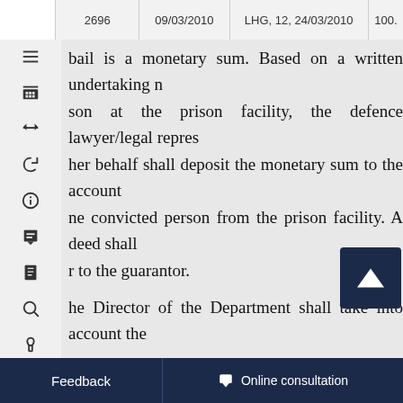2696   09/03/2010   LHG, 12, 24/03/2010   100.
bail is a monetary sum. Based on a written undertaking n son at the prison facility, the defence lawyer/legal repres her behalf shall deposit the monetary sum to the account ne convicted person from the prison facility. A deed shall r to the guarantor.
he Director of the Department shall take into account the
f a petition for a short leave of the prison facility is gra ount of the Ministry within three days after the petition is g
Before depositing the bail, the guarantor shall be warned written undertaking.
f a convicted person, being on a short leave from a prison rt leave expires or has committed a new crime, the me /her, and the amount of bail shall be transferred to the Sta
f a convicted person meets the time limits for t lea d faith, the amount of bail shall be returned to the guaran
n the case of a personal guarantee, the defence lawye